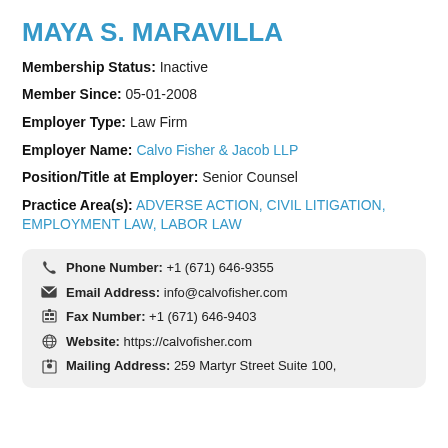MAYA S. MARAVILLA
Membership Status: Inactive
Member Since: 05-01-2008
Employer Type: Law Firm
Employer Name: Calvo Fisher & Jacob LLP
Position/Title at Employer: Senior Counsel
Practice Area(s): ADVERSE ACTION, CIVIL LITIGATION, EMPLOYMENT LAW, LABOR LAW
Phone Number: +1 (671) 646-9355
Email Address: info@calvofisher.com
Fax Number: +1 (671) 646-9403
Website: https://calvofisher.com
Mailing Address: 259 Martyr Street Suite 100,